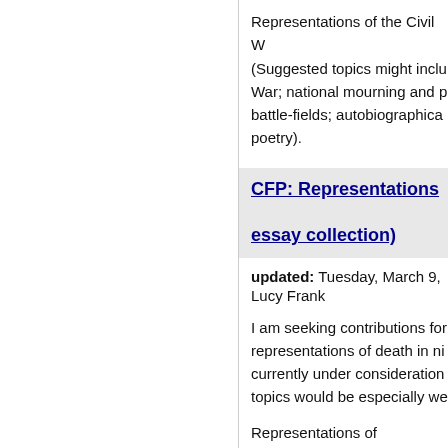Representations of the Civil W (Suggested topics might inclu War; national mourning and p battle-fields; autobiographica poetry).
CFP: Representations essay collection)
updated: Tuesday, March 9,
Lucy Frank
I am seeking contributions for representations of death in ni currently under consideration topics would be especially we
Representations of death/mou